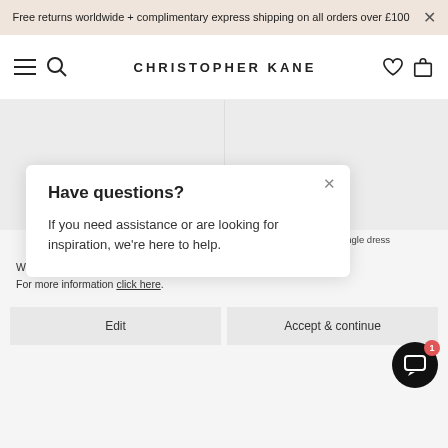Free returns worldwide + complimentary express shipping on all orders over £100
[Figure (screenshot): Christopher Kane website navigation bar with hamburger menu, search icon, logo, heart icon, and shopping bag icon]
[Figure (screenshot): Two product image placeholders loading, showing spinner arcs]
[Figure (screenshot): Modal popup: Have questions? If you need assistance or are looking for inspiration, we're here to help.]
cut-out knitted dress
heavy satin triangle dress
We use cookies to optimise site functionality and enhance your ex... For more information click here.
Edit
Accept & continue